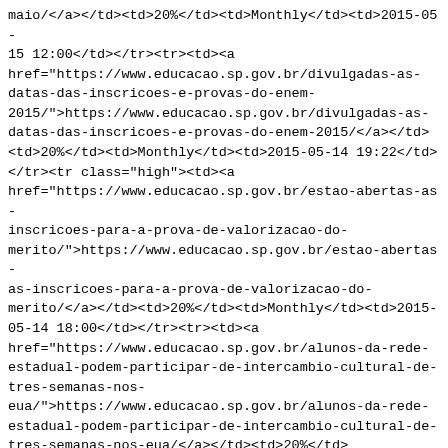maio/</a></td><td>20%</td><td>Monthly</td><td>2015-05-15 12:00</td></tr><tr><td><a href="https://www.educacao.sp.gov.br/divulgadas-as-datas-das-inscricoes-e-provas-do-enem-2015/">https://www.educacao.sp.gov.br/divulgadas-as-datas-das-inscricoes-e-provas-do-enem-2015/</a></td><td>20%</td><td>Monthly</td><td>2015-05-14 19:22</td></tr><tr class="high"><td><a href="https://www.educacao.sp.gov.br/estao-abertas-as-inscricoes-para-a-prova-de-valorizacao-do-merito/">https://www.educacao.sp.gov.br/estao-abertas-as-inscricoes-para-a-prova-de-valorizacao-do-merito/</a></td><td>20%</td><td>Monthly</td><td>2015-05-14 18:00</td></tr><tr><td><a href="https://www.educacao.sp.gov.br/alunos-da-rede-estadual-podem-participar-de-intercambio-cultural-de-tres-semanas-nos-eua/">https://www.educacao.sp.gov.br/alunos-da-rede-estadual-podem-participar-de-intercambio-cultural-de-tres-semanas-nos-eua/</a></td><td>20%</td><td>Monthly</td><td>2015-05-14 15:29</td></tr><tr class="high"><td><a href="https://www.educacao.sp.gov.br/educacao-protocola-cinco-propostas-de-melhorias-aos-professores-de-sp/">https://www.educacao.sp.gov.br/educacao-protocola-cinco-propostas-de-melhorias-aos-professores-de-sp/</a></td><td>20%</td><td>Monthly</td><td>2015-05-14 14:33</td></tr><tr><td><a href="https://www.educacao.sp.gov.br/seguem-abertas-as-inscricoes-para-curso-profissionalizante-do-